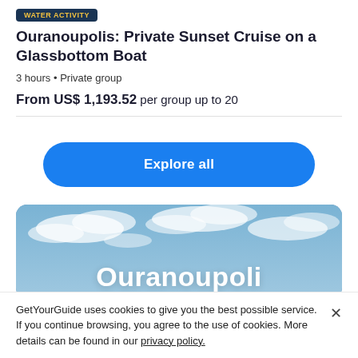WATER ACTIVITY
Ouranoupolis: Private Sunset Cruise on a Glassbottom Boat
3 hours • Private group
From US$ 1,193.52 per group up to 20
Explore all
[Figure (photo): Outdoor photo with sky and clouds background, with large white bold text 'Ouranoupoli' partially visible at the bottom]
GetYourGuide uses cookies to give you the best possible service. If you continue browsing, you agree to the use of cookies. More details can be found in our privacy policy.